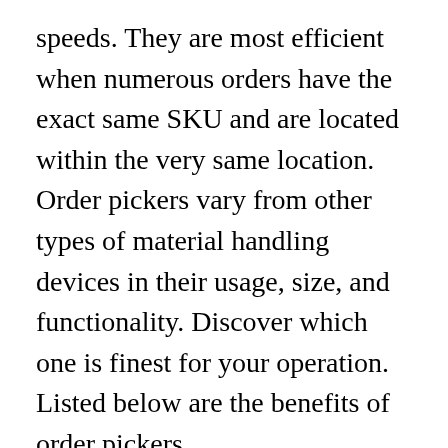speeds. They are most efficient when numerous orders have the exact same SKU and are located within the very same location. Order pickers vary from other types of material handling devices in their usage, size, and functionality. Discover which one is finest for your operation. Listed below are the benefits of order pickers.
Order pickers are popular in warehouses and warehouse. They enable operators to reach high racks and move boxes to the wanted place. The lift includes a cushioned